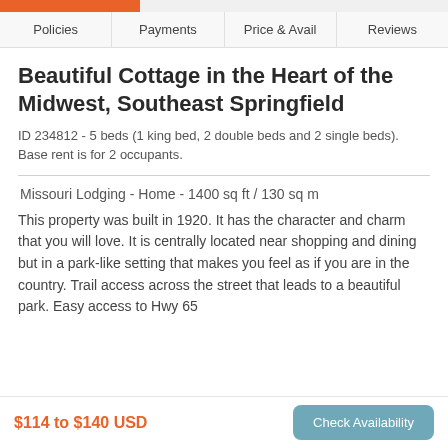Policies | Payments | Price & Avail | Reviews
Beautiful Cottage in the Heart of the Midwest, Southeast Springfield
ID 234812 - 5 beds (1 king bed, 2 double beds and 2 single beds). Base rent is for 2 occupants.
Missouri Lodging - Home - 1400 sq ft / 130 sq m
This property was built in 1920. It has the character and charm that you will love. It is centrally located near shopping and dining but in a park-like setting that makes you feel as if you are in the country. Trail access across the street that leads to a beautiful park. Easy access to Hwy 65
$114 to $140 USD | Check Availability